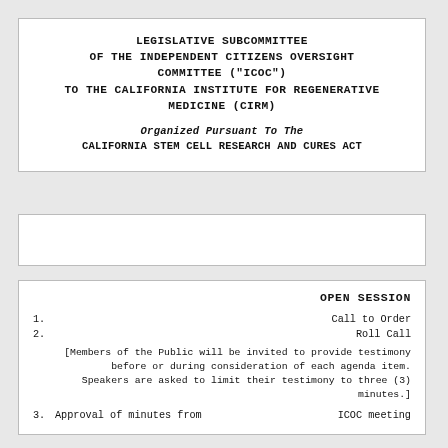LEGISLATIVE SUBCOMMITTEE OF THE INDEPENDENT CITIZENS OVERSIGHT COMMITTEE ("ICOC") TO THE CALIFORNIA INSTITUTE FOR REGENERATIVE MEDICINE (CIRM)

Organized Pursuant To The
CALIFORNIA STEM CELL RESEARCH AND CURES ACT
OPEN SESSION
1. Call to Order
2. Roll Call
[Members of the Public will be invited to provide testimony before or during consideration of each agenda item. Speakers are asked to limit their testimony to three (3) minutes.]
3. Approval of minutes from ICOC meeting